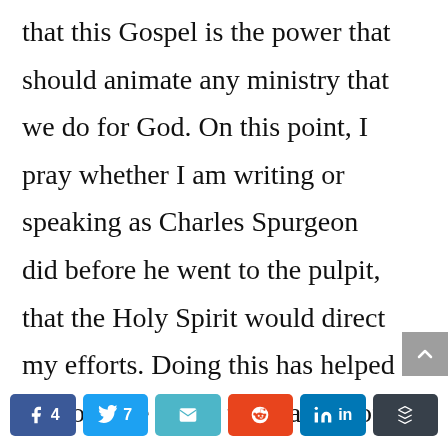that this Gospel is the power that should animate any ministry that we do for God. On this point, I pray whether I am writing or speaking as Charles Spurgeon did before he went to the pulpit, that the Holy Spirit would direct my efforts. Doing this has helped me to write under the leading of the Spirit and to present not my ideas but God's Word.  Approaching writing in